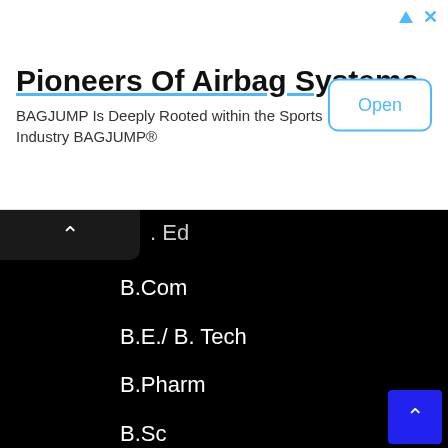[Figure (other): Advertisement banner for Pioneers Of Airbag Systems by BAGJUMP with an Open button]
. Ed
B.Com
B.E./ B. Tech
B.Pharm
B.Sc
B.Sc Admission
B.Sc Nursing
B.Sc Nursing Job
B.Sc(IT)
BA
Balasinor Nagarpalika
BAMS Job